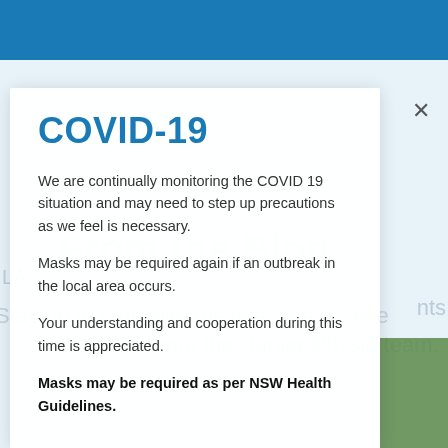COVID-19
We are continually monitoring the COVID 19 situation and may need to step up precautions as we feel is necessary.
Masks may be required again if an outbreak in the local area occurs.
Your understanding and cooperation during this time is appreciated.
Masks may be required as per NSW Health Guidelines.